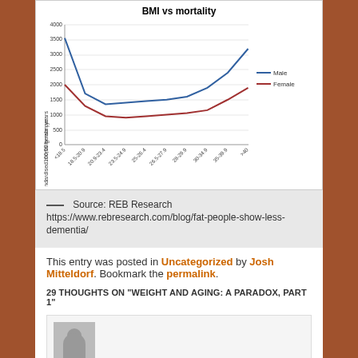[Figure (line-chart): BMI vs mortality]
Source: REB Research https://www.rebresearch.com/blog/fat-people-show-less-dementia/
This entry was posted in Uncategorized by Josh Mitteldorf. Bookmark the permalink.
29 THOUGHTS ON "WEIGHT AND AGING: A PARADOX, PART 1"